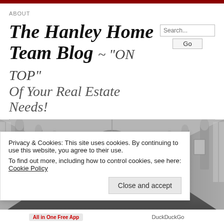ABOUT
The Hanley Home Team Blog ~ "ON TOP" Of Your Real Estate Needs!
[Figure (photo): Black and white photo of an ornate grand hallway with arched columns, a chandelier, and artwork on the walls, viewed from perspective.]
Privacy & Cookies: This site uses cookies. By continuing to use this website, you agree to their use.
To find out more, including how to control cookies, see here: Cookie Policy
Close and accept